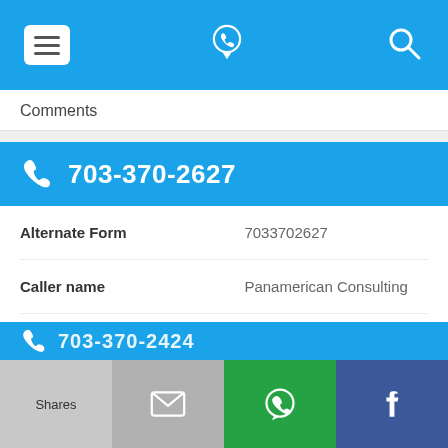[Figure (screenshot): Top navigation bar with menu icon, phone/location logo, and search icon on blue background]
Comments
703-370-2627
| Alternate Form | 7033702627 |
| Caller name | Panamerican Consulting |
| Last User Search | No searches yet |
| Comments |  |
[Figure (screenshot): Bottom share bar with Shares, email, WhatsApp, and Facebook buttons]